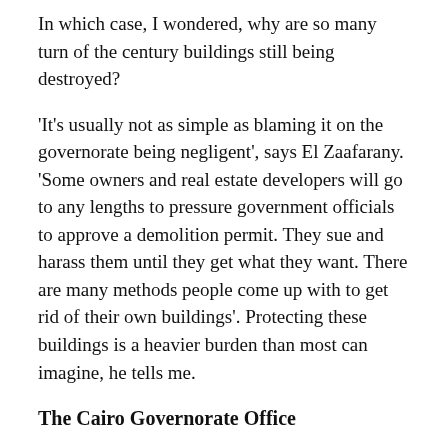In which case, I wondered, why are so many turn of the century buildings still being destroyed?
'It's usually not as simple as blaming it on the governorate being negligent', says El Zaafarany. 'Some owners and real estate developers will go to any lengths to pressure government officials to approve a demolition permit. They sue and harass them until they get what they want. There are many methods people come up with to get rid of their own buildings'. Protecting these buildings is a heavier burden than most can imagine, he tells me.
The Cairo Governorate Office
The NOUH can help draft laws and regulations, make recommendations and object to violations, but the power of direct enforcement lies in the hands of the governorates and municipalities. For this purpose, the